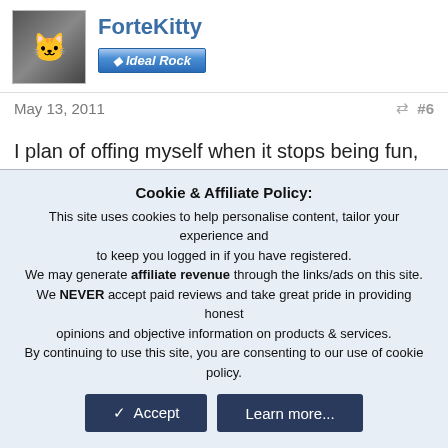ForteKitty
[Figure (logo): Ideal Rock badge/banner in blue gradient]
May 13, 2011  #6
I plan of offing myself when it stops being fun, so i wont need kids.
movie zombie
Cookie & Affiliate Policy: This site uses cookies to help personalise content, tailor your experience and to keep you logged in if you have registered. We may generate affiliate revenue through the links/ads on this site. We NEVER accept paid reviews and take great pride in providing honest opinions and objective information on products & services. By continuing to use this site, you are consenting to our use of cookie policy.
Accept  Learn more...